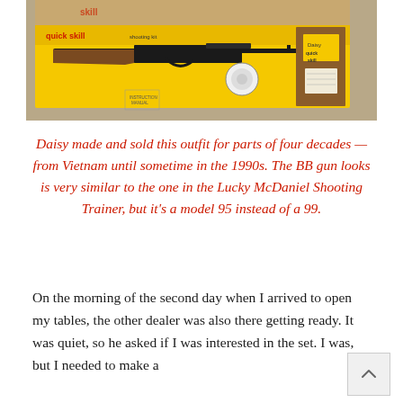[Figure (photo): A Daisy Quick Skill shooting set in its yellow box, showing a lever-action BB rifle (model 95) with accessories including targets and a manual, plus a brown cardboard insert on the right side.]
Daisy made and sold this outfit for parts of four decades — from Vietnam until sometime in the 1990s. The BB gun looks is very similar to the one in the Lucky McDaniel Shooting Trainer, but it's a model 95 instead of a 99.
On the morning of the second day when I arrived to open my tables, the other dealer was also there getting ready. It was quiet, so he asked if I was interested in the set. I was, but I needed to make a